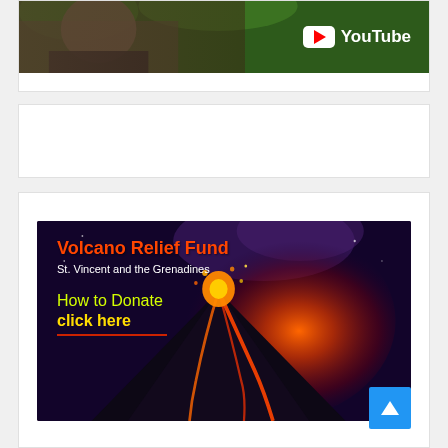[Figure (screenshot): YouTube video thumbnail showing a person in a dark jacket with a YouTube play button logo overlay in the upper right]
[Figure (photo): White card/ad space area (empty)]
[Figure (infographic): Volcano Relief Fund banner image showing an erupting volcano at night with lava and smoke. Text overlay reads: 'Volcano Relief Fund', 'St. Vincent and the Grenadines', 'How to Donate', 'click here' with a red underline.]